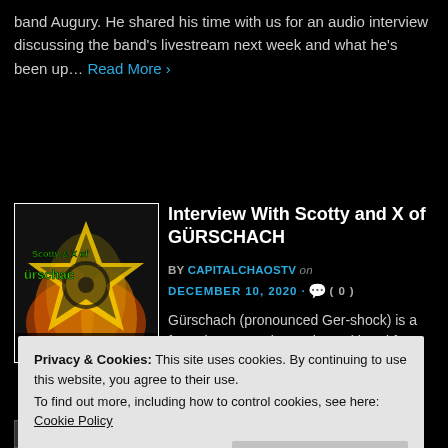band Augury. He shared his time with us for an audio interview discussing the band's livestream next week and what he's been up… Read More ›
[Figure (photo): Thumbnail image for Interview With Scotty and X of GÜRSCHACH — shows 'Scotty & X of Gürschach' text over a fiery graphic with Capital Chaos TV branding]
Interview With Scotty and X of GÜRSCHACH
BY CAPITALCHAOSTV on DECEMBER 10, 2020 · 💬 ( 0 )
Gürschach (pronounced Ger-shock) is a four-piece Experimental Metal band from the San Francisco Bay Area, whose main vision is to create an unfamiliar, yet captivating listening experience for their audience.
Privacy & Cookies: This site uses cookies. By continuing to use this website, you agree to their use.
To find out more, including how to control cookies, see here: Cookie Policy
Close and accept
Capital Chaos TV – This week is